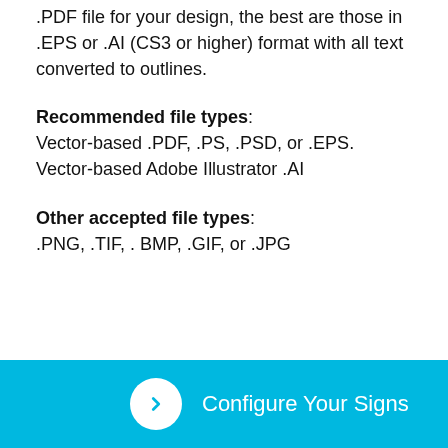.PDF file for your design, the best are those in .EPS or .AI (CS3 or higher) format with all text converted to outlines.
Recommended file types:
Vector-based .PDF, .PS, .PSD, or .EPS. Vector-based Adobe Illustrator .AI
Other accepted file types:
.PNG, .TIF, . BMP, .GIF, or .JPG
Configure Your Signs